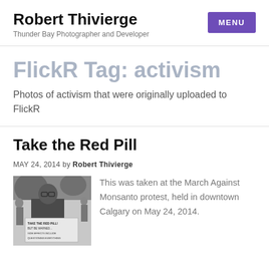Robert Thivierge — Thunder Bay Photographer and Developer
FlickR Tag: activism
Photos of activism that were originally uploaded to FlickR
Take the Red Pill
MAY 24, 2014 by Robert Thivierge
[Figure (photo): Black and white photo of a man at a protest, holding a sign that reads 'TAKE THE RED PILL! BUT BE WARNED... SIDE EFFECTS INCLUDE QUESTIONING EVERYTHING']
This was taken at the March Against Monsanto protest, held in downtown Calgary on May 24, 2014.